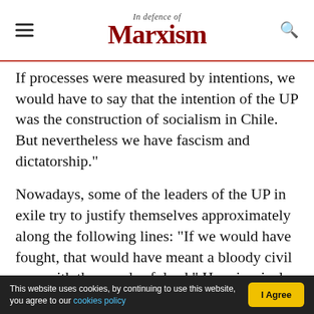In Defence of Marxism
If processes were measured by intentions, we would have to say that the intention of the UP was the construction of socialism in Chile. But nevertheless we have fascism and dictatorship."
Nowadays, some of the leaders of the UP in exile try to justify themselves approximately along the following lines: "If we would have fought, that would have meant a bloody civil war, with thousands of dead." How ironical these words sound today! Thousands of workers and peasants, the cream of the working class, have been exterminated, tortured, imprisoned in concentration
This website uses cookies, by continuing to use this website, you agree to our cookies policy  I Agree